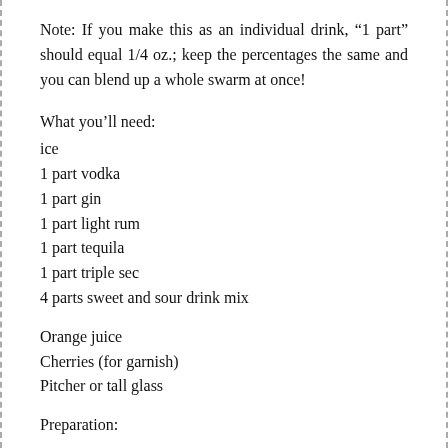Note: If you make this as an individual drink, “1 part” should equal 1/4 oz.; keep the percentages the same and you can blend up a whole swarm at once!
What you’ll need:
ice
1 part vodka
1 part gin
1 part light rum
1 part tequila
1 part triple sec
4 parts sweet and sour drink mix
Orange juice
Cherries (for garnish)
Pitcher or tall glass
Preparation:
In a shaker or blender, combine ice plus vodka, gin, rum, tequila, triple sec, and sweet and sour. Strain into a tall glass (or divide and strain mix equally into multiple glasses). Fill each glass to the top with orange juice. Garnish with a fresh